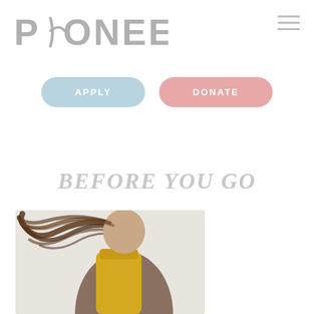[Figure (logo): Pioneers logo — stylized text 'PIONEERS' in gray with a wave/swoosh replacing the letter I]
[Figure (other): Hamburger menu icon — three horizontal gray lines in top right corner]
[Figure (other): Two rounded pill-shaped buttons: 'APPLY' in blue-gray and 'DONATE' in pink-red]
BEFORE YOU GO
[Figure (photo): Photo of a person with long dark hair blowing in the wind, wearing a yellow backpack, viewed from behind/side]